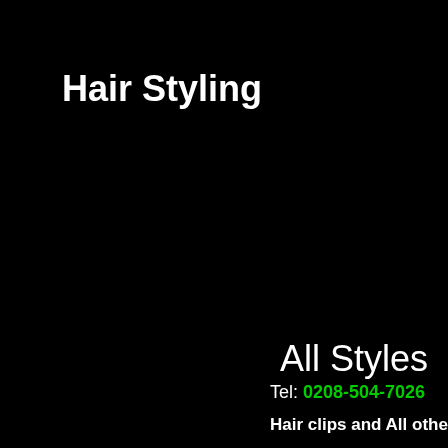Hair Styling
All Styles
Tel: 0208-504-7026  Mo
Hair clips and All other Hairstyl